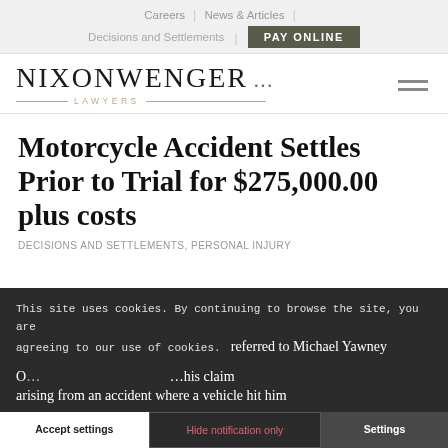Careers | News & Articles | Decisions and Settlements | PAY ONLINE
[Figure (logo): Nixon Wenger Lawyers logo with firm name in serif typeface and decorative lines around 'LAWYERS' subtitle]
Motorcycle Accident Settles Prior to Trial for $275,000.00 plus costs
DECISIONS AND SETTLEMENTS, PERSONAL INJURY
This site uses cookies. By continuing to browse the site, you are agreeing to our use of cookies.
referred to Michael Yawney O... ...his claim arising from an accident where a vehicle hit him
Accept settings | Hide notification only | Settings